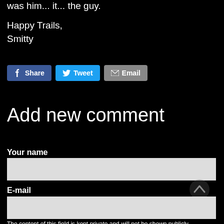was him... it... the guy.
Happy Trails,
Smitty
[Figure (other): Social share buttons: Facebook Share, Twitter Tweet, Email]
Add new comment
Your name
E-mail
The content of this field is kept private and will not be shown publicly.